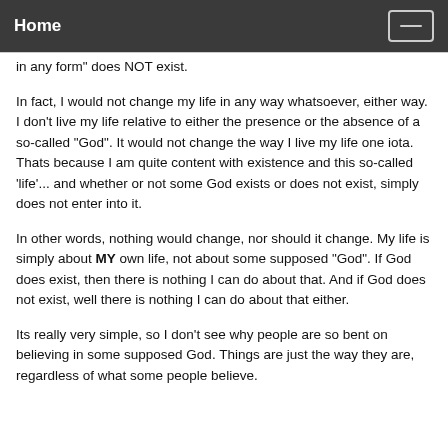Home
in any form" does NOT exist.
In fact, I would not change my life in any way whatsoever, either way. I don't live my life relative to either the presence or the absence of a so-called "God". It would not change the way I live my life one iota. Thats because I am quite content with existence and this so-called 'life'... and whether or not some God exists or does not exist, simply does not enter into it.
In other words, nothing would change, nor should it change. My life is simply about MY own life, not about some supposed "God". If God does exist, then there is nothing I can do about that. And if God does not exist, well there is nothing I can do about that either.
Its really very simple, so I don't see why people are so bent on believing in some supposed God. Things are just the way they are, regardless of what some people believe.